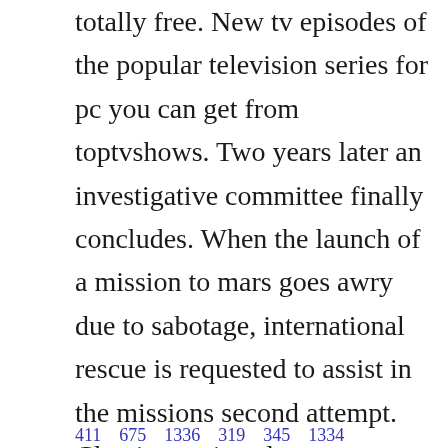totally free. New tv episodes of the popular television series for pc you can get from toptvshows. Two years later an investigative committee finally concludes. When the launch of a mission to mars goes awry due to sabotage, international rescue is requested to assist in the missions second attempt. Classic movie, adventure, ap films, supermarionation, gerry anderson, marionette, thunderbirds, international, rescue, scifi, british, childens, movie. The complete collection dvd 2015 by alan patillo dvd.
411    675    1336    319    345    1334